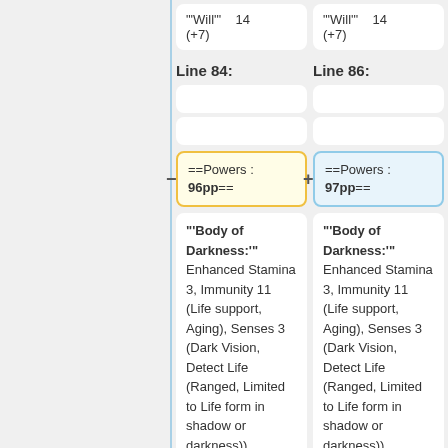"'Will'" 14 (+7)
"'Will'" 14 (+7)
Line 84:
Line 86:
==Powers : 96pp==
==Powers : 97pp==
"'Body of Darkness:'" Enhanced Stamina 3, Immunity 11 (Life support, Aging), Senses 3 (Dark Vision, Detect Life (Ranged, Limited to Life form in shadow or darkness))
"'Body of Darkness:'" Enhanced Stamina 3, Immunity 11 (Life support, Aging), Senses 3 (Dark Vision, Detect Life (Ranged, Limited to Life form in shadow or darkness))